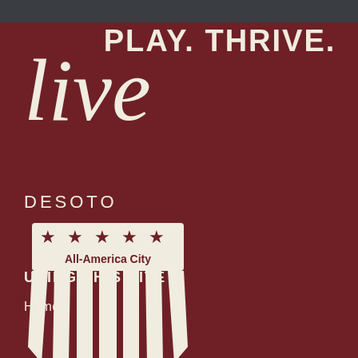PLAY. THRIVE. live
[Figure (logo): DeSoto All-America City shield logo with stars and stripes, white on dark red background, with text 'DESOTO' above and 'All-America City' on the shield]
USING THIS SITE
Home